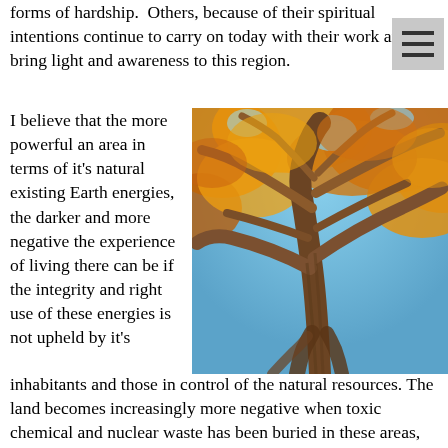forms of hardship.  Others, because of their spiritual intentions continue to carry on today with their work and bring light and awareness to this region.
I believe that the more powerful an area in terms of it's natural existing Earth energies, the darker and more negative the experience of living there can be if the integrity and right use of these energies is not upheld by it's inhabitants and those in control of the natural resources. The land becomes increasingly more negative when toxic chemical and nuclear waste has been buried in these areas, or water has been built upon and/or redirected, as the Earth struggles to breathe and restore balance.  Also, some areas should never have been developed with mundane activities
[Figure (photo): Looking up through the spiraling branches of a large autumn tree with orange and golden leaves against a blue sky, viewed from below.]